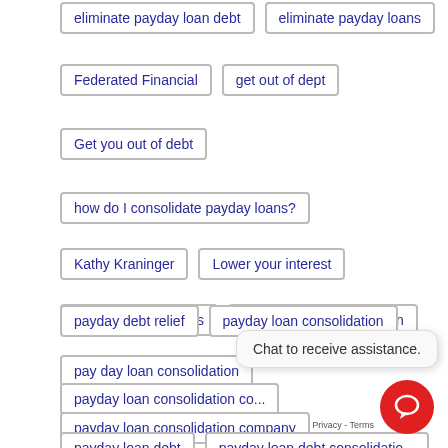eliminate payday loan debt
eliminate payday loans
Federated Financial
get out of dept
Get you out of debt
how do I consolidate payday loans?
Kathy Kraninger
Lower your interest
Outlaw payday loans
payday debt consolidation
payday debt relief
payday loan consolidation
pay day loan consolidation
payday loan consolidation co...
payday loan consolidation company
payday loan debt
payday loan debt consolidatio...
Chat to receive assistance.